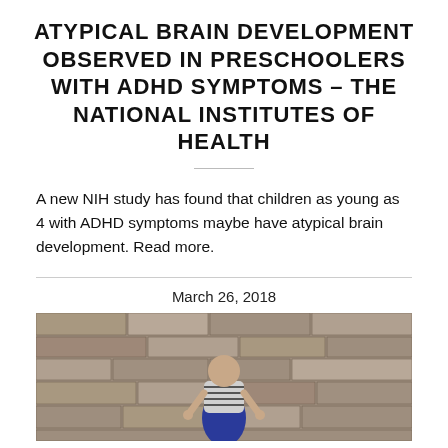ATYPICAL BRAIN DEVELOPMENT OBSERVED IN PRESCHOOLERS WITH ADHD SYMPTOMS – THE NATIONAL INSTITUTES OF HEALTH
A new NIH study has found that children as young as 4 with ADHD symptoms maybe have atypical brain development. Read more.
March 26, 2018
[Figure (photo): A child sitting against a stone brick wall, wearing a striped top and blue outfit, with hands clasped]